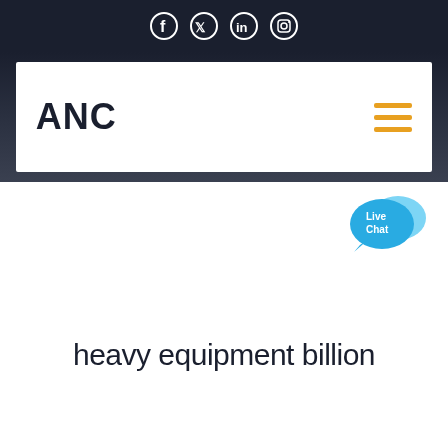Social media icons: Facebook, Twitter, LinkedIn, Instagram
[Figure (logo): ANC company logo with hamburger menu icon in orange]
[Figure (illustration): Live Chat bubble icon in blue]
heavy equipment billion